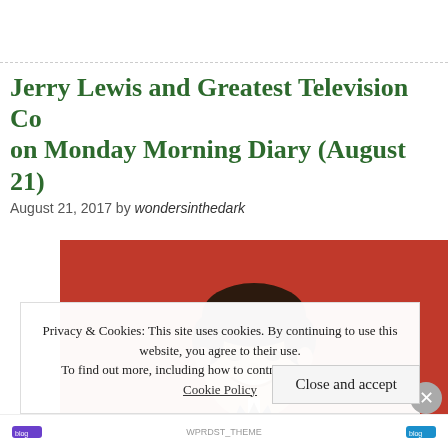Jerry Lewis and Greatest Television Co on Monday Morning Diary (August 21)
August 21, 2017 by wondersinthedark
[Figure (photo): Photo of Jerry Lewis smiling against a red background, wearing a dark suit]
Privacy & Cookies: This site uses cookies. By continuing to use this website, you agree to their use. To find out more, including how to control cookies, see here: Cookie Policy
Close and accept